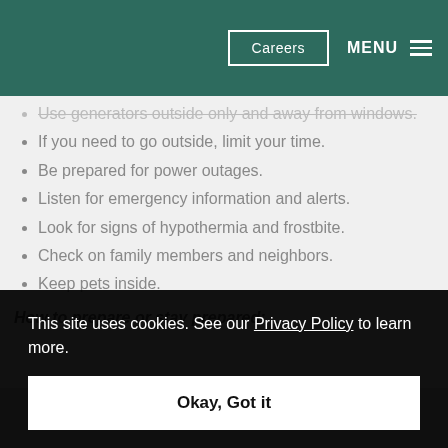Careers   MENU
Use generators outside only and away from windows.
If you need to go outside, limit your time.
Be prepared for power outages.
Listen for emergency information and alerts.
Look for signs of hypothermia and frostbite.
Check on family members and neighbors.
Keep pets inside.
How to prepare or stay prepared:
This site uses cookies. See our Privacy Policy to learn more.
Gather supplies in case you need to stay home fo...